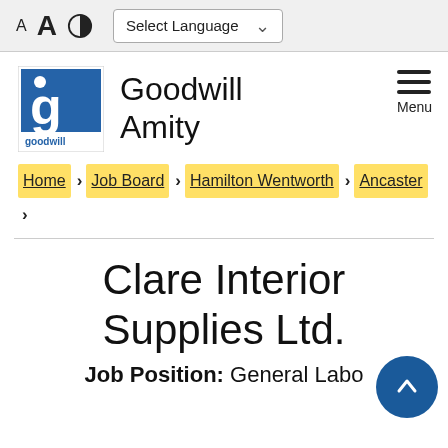A  A  [contrast icon]  Select Language
[Figure (logo): Goodwill logo: white 'g' on blue square background with 'goodwill' text below]
Goodwill Amity
Menu
Home > Job Board > Hamilton Wentworth > Ancaster >
Clare Interior Supplies Ltd.
Job Position: General Labo...